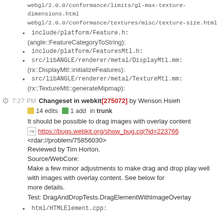webgl/2.0.0/conformance/limits/gl-max-texture-dimensions.html
webgl/2.0.0/conformance/textures/misc/texture-size.html
include/platform/Feature.h:
(angle::FeatureCategoryToString):
include/platform/FeaturesMtl.h:
src/libANGLE/renderer/metal/DisplayMtl.mm:
(rx::DisplayMtl::initializeFeatures):
src/libANGLE/renderer/metal/TextureMtl.mm:
(rx::TextureMtl::generateMipmap):
7:27 PM Changeset in webkit [275072] by Wenson Hsieh
14 edits  1 add  in trunk
It should be possible to drag images with overlay content
https://bugs.webkit.org/show_bug.cgi?id=223766
<rdar://problem/75856030>
Reviewed by Tim Horton.
Source/WebCore:
Make a few minor adjustments to make drag and drop play well with images with overlay content. See below for more details.
Test: DragAndDropTests.DragElementWithImageOverlay
html/HTMLElement.cpp: